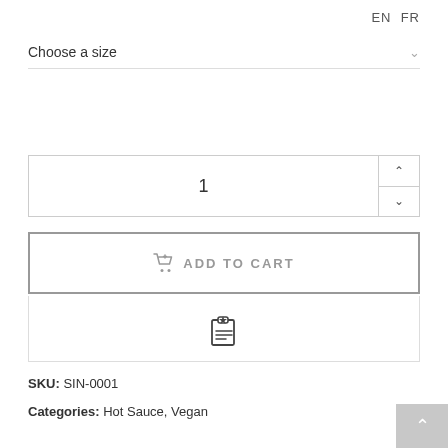EN FR
Choose a size
1
ADD TO CART
[Figure (illustration): Wishlist / add to list icon — clipboard with star]
SKU: SIN-0001
Categories: Hot Sauce, Vegan